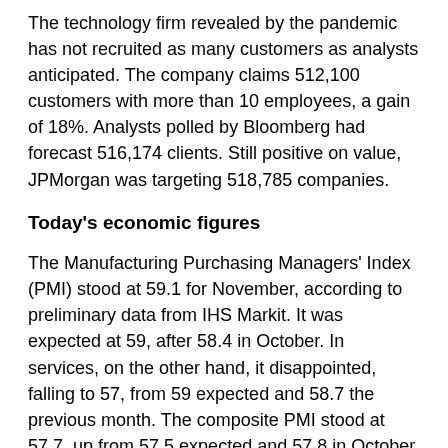The technology firm revealed by the pandemic has not recruited as many customers as analysts anticipated. The company claims 512,100 customers with more than 10 employees, a gain of 18%. Analysts polled by Bloomberg had forecast 516,174 clients. Still positive on value, JPMorgan was targeting 518,785 companies.
Today's economic figures
The Manufacturing Purchasing Managers' Index (PMI) stood at 59.1 for November, according to preliminary data from IHS Markit. It was expected at 59, after 58.4 in October. In services, on the other hand, it disappointed, falling to 57, from 59 expected and 58.7 the previous month. The composite PMI stood at 57.7, up from 57.5 expected and 57.8 in October.
The values to follow today